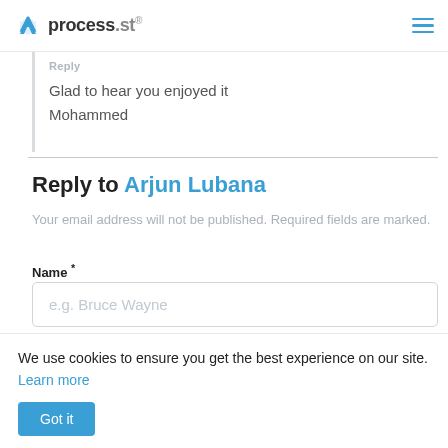process.st
Reply
Glad to hear you enjoyed it Mohammed
Reply to Arjun Lubana
Your email address will not be published. Required fields are marked.
Name *
e.g. Bruce Wayne
We use cookies to ensure you get the best experience on our site. Learn more
Got it